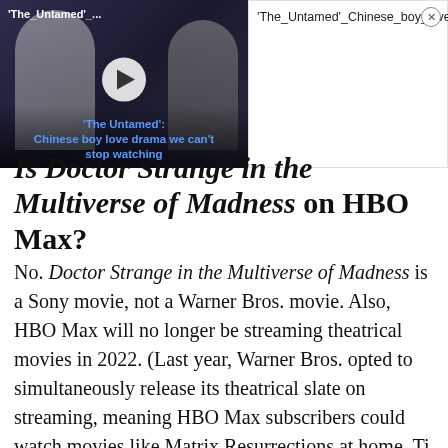[Figure (screenshot): Video thumbnail overlay showing 'The Untamed' Chinese boy love drama, with a play button, two figures in the background, and a caption bar. Adjacent side panel shows the filename 'The_Untamed'_Chinese_boy_love_drama_we_can't_stop_watching_1080p with a close button.]
Is Doctor Strange in the Multiverse of Madness on HBO Max?
No. Doctor Strange in the Multiverse of Madness is a Sony movie, not a Warner Bros. movie. Also, HBO Max will no longer be streaming theatrical movies in 2022. (Last year, Warner Bros. opted to simultaneously release its theatrical slate on streaming, meaning HBO Max subscribers could watch movies like Matrix Resurrections at home. This...